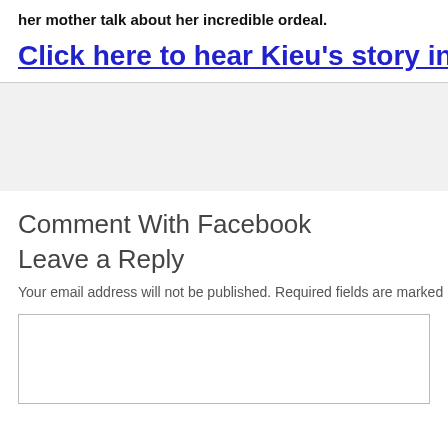her mother talk about her incredible ordeal.
Click here to hear Kieu's story in her o
[Figure (other): Gray banner advertisement or placeholder block]
Comment With Facebook
Leave a Reply
Your email address will not be published. Required fields are marked
[Figure (other): Comment text area input box]